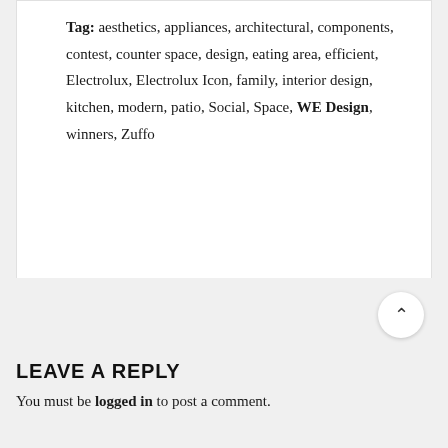Tag: aesthetics, appliances, architectural, components, contest, counter space, design, eating area, efficient, Electrolux, Electrolux Icon, family, interior design, kitchen, modern, patio, Social, Space, WE Design, winners, Zuffo
LEAVE A REPLY
You must be logged in to post a comment.